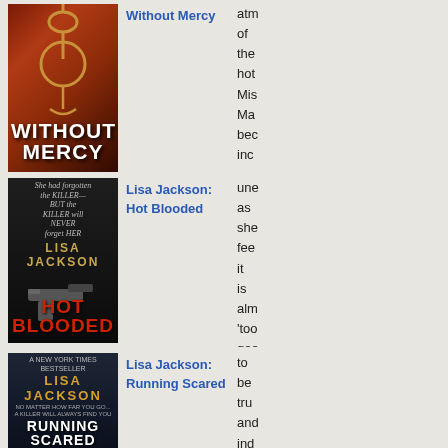[Figure (photo): Book cover: Without Mercy - dark thriller with noose rope against red/brown dramatic background]
Without Mercy
atm of the hot Mis Ma bec incl une as she fee it is alm 'too goo to be tru and ind it
[Figure (photo): Book cover: Lisa Jackson: Hot Blooded - dark cover with gun, text about killer]
Lisa Jackson: Hot Blooded
[Figure (photo): Book cover: Lisa Jackson: Running Scared - dark thriller cover]
Lisa Jackson: Running Scared